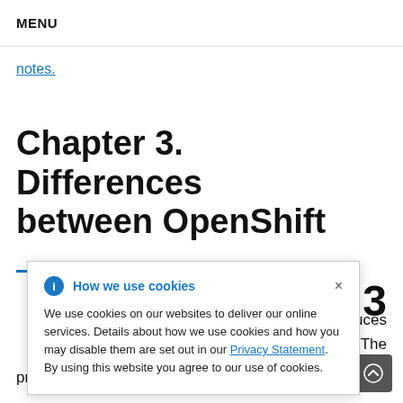MENU
notes.
Chapter 3. Differences between OpenShift
How we use cookies

We use cookies on our websites to deliver our online services. Details about how we use cookies and how you may disable them are set out in our Privacy Statement. By using this website you agree to our use of cookies.
procedures that you used to manage your